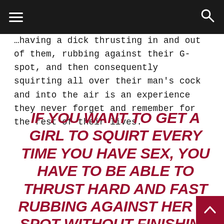[Navigation bar with hamburger menu and search icon]
…having a dick thrusting in and out of them, rubbing against their G-spot, and then consequently squirting all over their man's cock and into the air is an experience they never forget and remember for the rest of their lives.
IF YOU WANT TO GET A GIRL TO SQUIRT EVERY TIME YOU HAVE SEX, YOU HAVE TO BE ABLE TO THRUST HARD AND FAST RUBBING AGAINST HER G-SPOT WITHOUT FINISHING TOO QUICKLY.